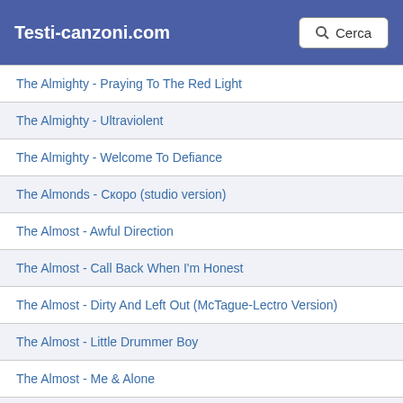Testi-canzoni.com   Cerca
The Almighty - Praying To The Red Light
The Almighty - Ultraviolent
The Almighty - Welcome To Defiance
The Almonds - Скоро (studio version)
The Almost - Awful Direction
The Almost - Call Back When I'm Honest
The Almost - Dirty And Left Out (McTague-Lectro Version)
The Almost - Little Drummer Boy
The Almost - Me & Alone
The Almost - No I Don't
The Almost - Southern Weather